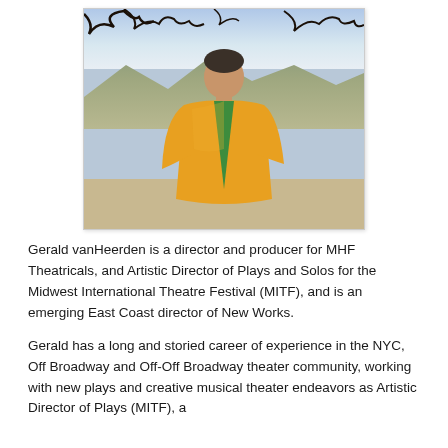[Figure (photo): Outdoor photo of a man wearing a yellow jacket standing in front of a hilly landscape with a cloudy sky. Tree branches visible at the top of the image.]
Gerald vanHeerden is a director and producer for MHF Theatricals, and Artistic Director of Plays and Solos for the Midwest International Theatre Festival (MITF), and is an emerging East Coast director of New Works.
Gerald has a long and storied career of experience in the NYC, Off Broadway and Off-Off Broadway theater community, working with new plays and creative musical theater endeavors as Artistic Director of Plays (MITF), a producer and director for MHF Theatricals, and a